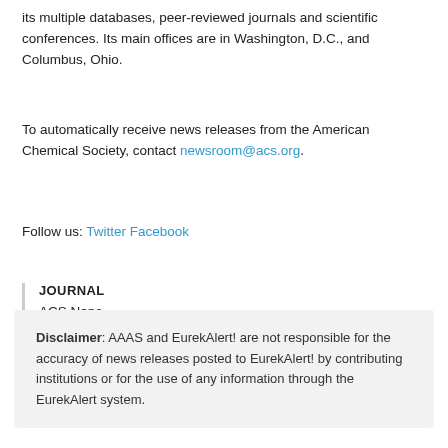its multiple databases, peer-reviewed journals and scientific conferences. Its main offices are in Washington, D.C., and Columbus, Ohio.
To automatically receive news releases from the American Chemical Society, contact newsroom@acs.org.
Follow us: Twitter Facebook
JOURNAL
ACS Nano
Disclaimer: AAAS and EurekAlert! are not responsible for the accuracy of news releases posted to EurekAlert! by contributing institutions or for the use of any information through the EurekAlert system.